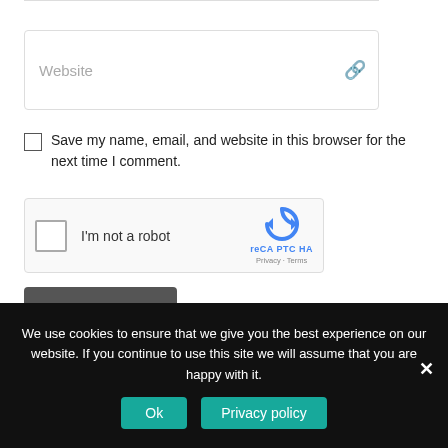[Figure (screenshot): Website URL input field with placeholder text 'Website' and a chain-link icon on the right]
Save my name, email, and website in this browser for the next time I comment.
[Figure (screenshot): reCAPTCHA widget with checkbox and 'I'm not a robot' label, reCAPTCHA logo, Privacy and Terms links]
POST COMMENT
We use cookies to ensure that we give you the best experience on our website. If you continue to use this site we will assume that you are happy with it.
Ok
Privacy policy